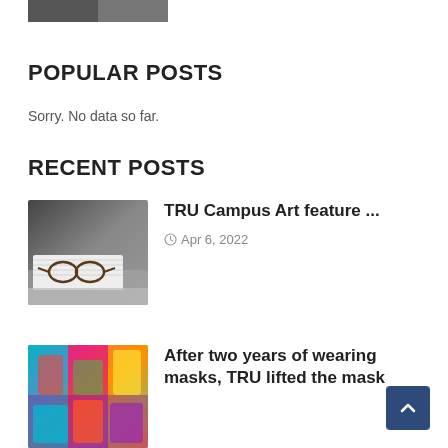[Figure (photo): Partial top image, dark/grey, cropped at top of page]
POPULAR POSTS
Sorry. No data so far.
RECENT POSTS
[Figure (photo): Photo of glasses resting on open book/papers with laptop]
TRU Campus Art feature ...
Apr 6, 2022
[Figure (photo): Colorful masks in bright colors - teal, pink, orange, blue]
After two years of wearing masks, TRU lifted the mask